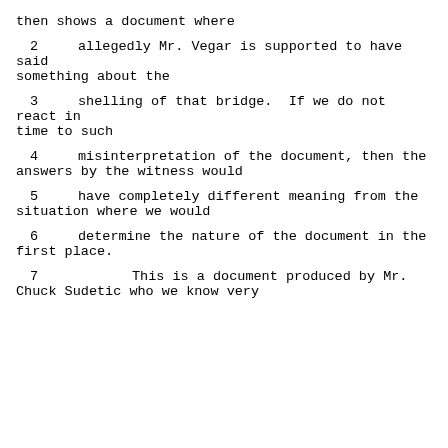then shows a document where
2     allegedly Mr. Vegar is supported to have said something about the
3     shelling of that bridge.  If we do not react in time to such
4     misinterpretation of the document, then the answers by the witness would
5     have completely different meaning from the situation where we would
6     determine the nature of the document in the first place.
7              This is a document produced by Mr. Chuck Sudetic who we know very